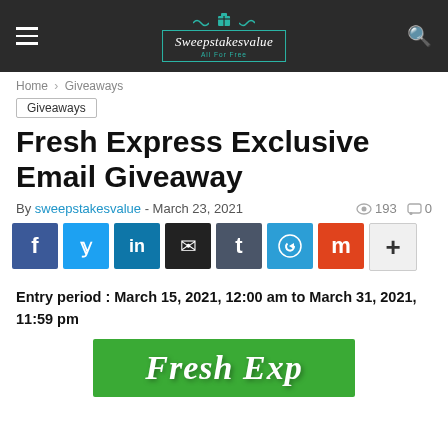Sweepstakesvalue - navigation header with logo
Home > Giveaways
Giveaways
Fresh Express Exclusive Email Giveaway
By sweepstakesvalue - March 23, 2021  193  0
[Figure (infographic): Social sharing buttons: Facebook, Twitter, LinkedIn, Email, Tumblr, Telegram, Mix, More]
Entry period : March 15, 2021, 12:00 am to March 31, 2021, 11:59 pm
[Figure (photo): Fresh Express promotional banner with green background and stylized text]